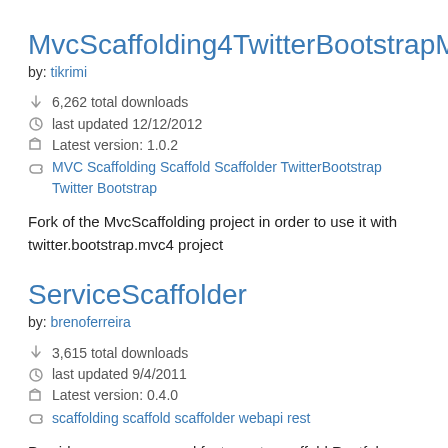MvcScaffolding4TwitterBootstrapMvc
by: tikrimi
6,262 total downloads
last updated 12/12/2012
Latest version: 1.0.2
MVC Scaffolding Scaffold Scaffolder TwitterBootstrap Twitter Bootstrap
Fork of the MvcScaffolding project in order to use it with twitter.bootstrap.mvc4 project
ServiceScaffolder
by: brenoferreira
3,615 total downloads
last updated 9/4/2011
Latest version: 0.4.0
scaffolding scaffold scaffolder webapi rest
Provides a very easy and fast way to scaffold Restful services using WCF WebAPI...